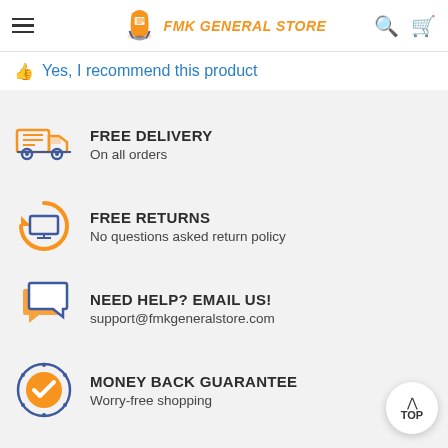FMK GENERAL STORE
👍 Yes, I recommend this product
FREE DELIVERY
On all orders
FREE RETURNS
No questions asked return policy
NEED HELP? Email us!
support@fmkgeneralstore.com
MONEY BACK GUARANTEE
Worry-free shopping